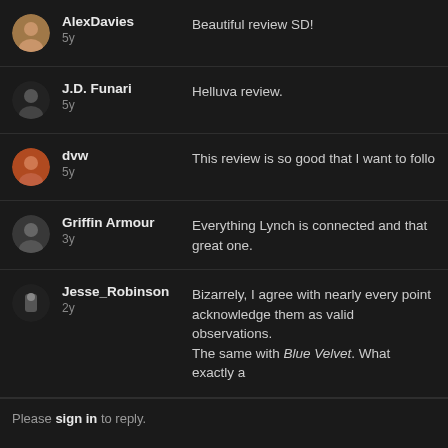AlexDavies 5y — Beautiful review SD!
J.D. Funari 5y — Helluva review.
dvw 5y — This review is so good that I want to follo
Griffin Armour 3y — Everything Lynch is connected and that great one.
Jesse_Robinson 2y — Bizarrely, I agree with nearly every point acknowledge them as valid observations. The same with Blue Velvet. What exactly a
Please sign in to reply.